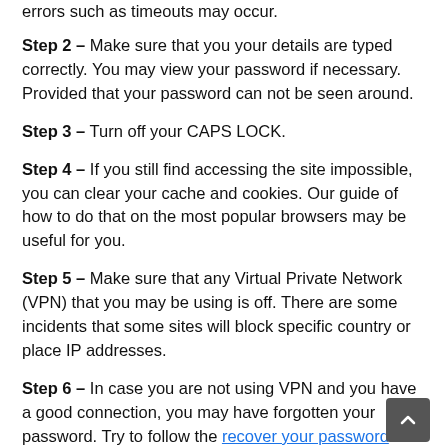errors such as timeouts may occur.
Step 2 – Make sure that you your details are typed correctly. You may view your password if necessary. Provided that your password can not be seen around.
Step 3 – Turn off your CAPS LOCK.
Step 4 – If you still find accessing the site impossible, you can clear your cache and cookies. Our guide of how to do that on the most popular browsers may be useful for you.
Step 5 – Make sure that any Virtual Private Network (VPN) that you may be using is off. There are some incidents that some sites will block specific country or place IP addresses.
Step 6 – In case you are not using VPN and you have a good connection, you may have forgotten your password. Try to follow the recover your password